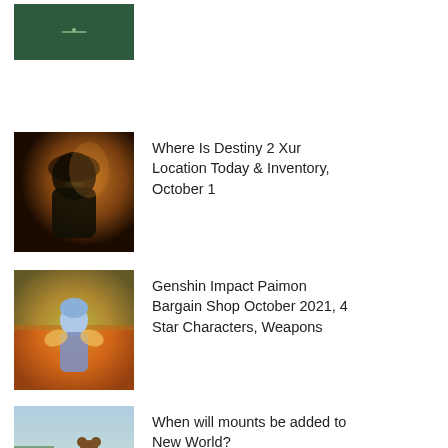[Figure (screenshot): Dark green game thumbnail with a small icon in center]
[Figure (photo): Destiny 2 Xur character in dark hood with glowing background]
Where Is Destiny 2 Xur Location Today & Inventory, October 1
[Figure (illustration): Genshin Impact anime characters with colorful fantasy background]
Genshin Impact Paimon Bargain Shop October 2021, 4 Star Characters, Weapons
[Figure (photo): New World game art showing a bear standing next to a person in a meadow]
When will mounts be added to New World?